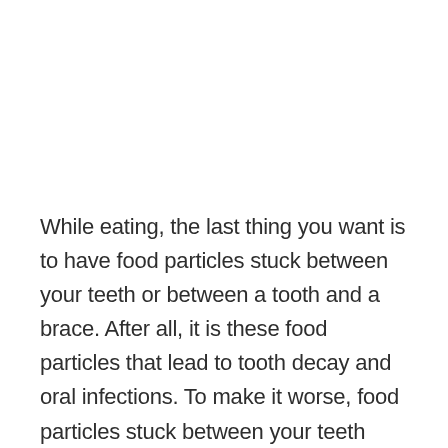While eating, the last thing you want is to have food particles stuck between your teeth or between a tooth and a brace. After all, it is these food particles that lead to tooth decay and oral infections. To make it worse, food particles stuck between your teeth cannot be removed with a toothbrush. Fortunately, there is a convenient way to solve this problem. And that is to use a